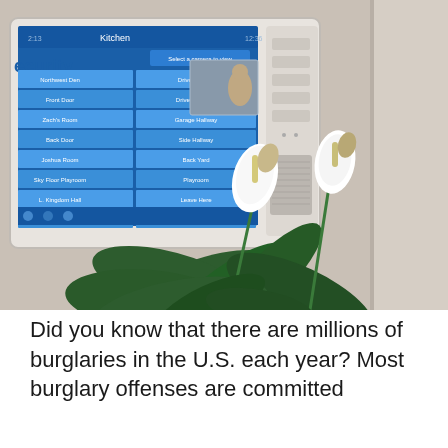[Figure (photo): A home security touchscreen panel mounted on a beige/grey wall showing a smart home control interface with room names and controls visible. In the foreground is a green peace lily plant with white flowers. The setting appears to be a home interior.]
Did you know that there are millions of burglaries in the U.S. each year? Most burglary offenses are committed